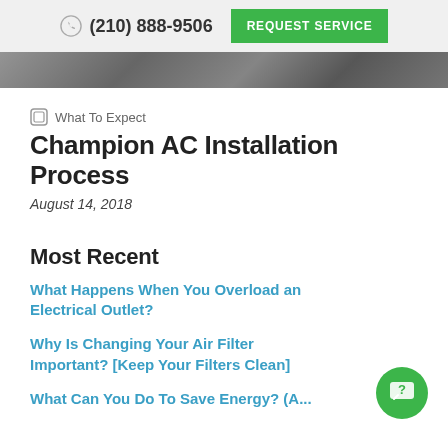(210) 888-9506  REQUEST SERVICE
[Figure (photo): Partial image strip visible at top of page content area, showing a blurred dark background scene]
What To Expect
Champion AC Installation Process
August 14, 2018
Most Recent
What Happens When You Overload an Electrical Outlet?
Why Is Changing Your Air Filter Important? [Keep Your Filters Clean]
What Can You Do To Save Energy? (A...